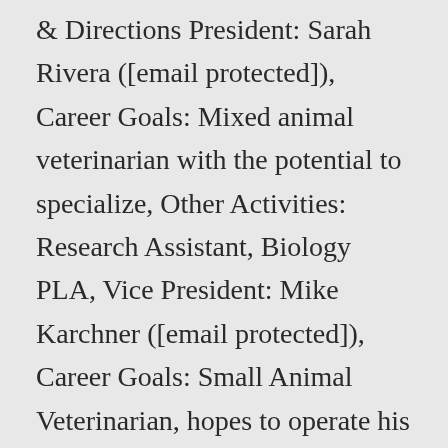& Directions President: Sarah Rivera ([email protected]), Career Goals: Mixed animal veterinarian with the potential to specialize, Other Activities: Research Assistant, Biology PLA, Vice President: Mike Karchner ([email protected]), Career Goals: Small Animal Veterinarian, hopes to operate his own practice and continue work with his startup company Pet-Viser, Interests: Listening to and performing music, reading, politics, and video games. Interests: Field hockey, baking, and walking dogs. AP Sceptical Chemists. You can pursue careers in fields including clinical practice, research, public health, government work (USDA, FDA, etc. Thursday, October 10, 2019 at 6:00pm to 7:00pm Science Center 348